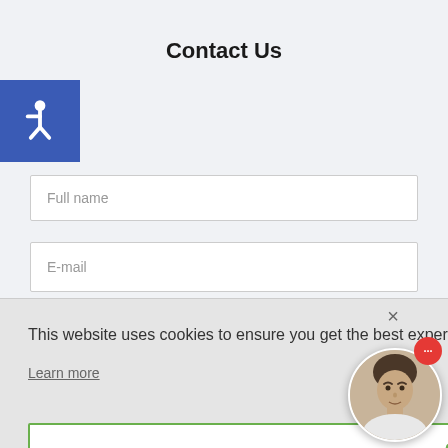Contact Us
[Figure (illustration): Blue square accessibility icon with wheelchair symbol]
Full name
E-mail
This website uses cookies to ensure you get the best experience on our website.

Learn more
OK
[Figure (photo): Round avatar photo of a man, with red notification dot showing ellipsis icon]